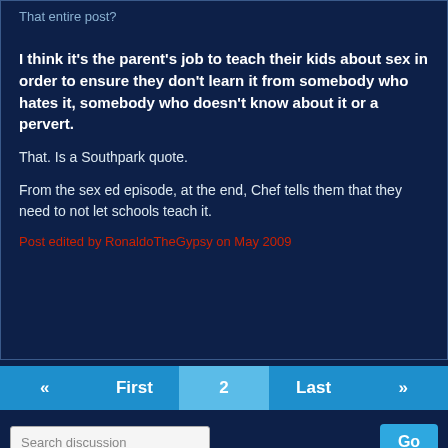That entire post?
I think it's the parent's job to teach their kids about sex in order to ensure they don't learn it from somebody who hates it, somebody who doesn't know about it or a pervert.
That. Is a Southpark quote.
From the sex ed episode, at the end, Chef tells them that they need to not let schools teach it.
Post edited by RonaldoTheGypsy on May 2009
« First 2 Last »
Search discussion
Go
Sign In or Register to comment.